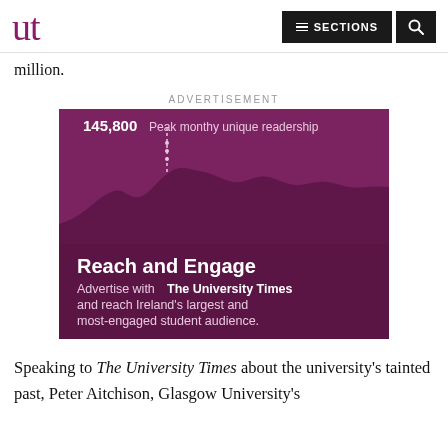ut | SECTIONS | [search]
million.
ADVERTISEMENT
[Figure (infographic): Purple advertisement for The University Times showing an area chart with peak monthly unique readership of 145,800, titled 'Reach and Engage'. Text reads: Advertise with The University Times and reach Ireland's largest and most-engaged student audience.]
Speaking to The University Times about the university's tainted past, Peter Aitchison, Glasgow University's